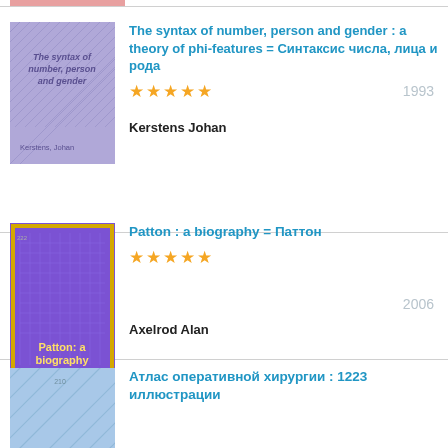[Figure (illustration): Book cover: light purple with diamond pattern, title 'The syntax of number, person and gender', author 'Kerstens, Johan']
The syntax of number, person and gender : a theory of phi-features = Синтаксис числа, лица и рода
★★★★★  1993
Kerstens Johan
[Figure (illustration): Book cover: purple with gold decorative border, title 'Patton: a biography' in yellow text]
Patton : a biography = Паттон
★★★★★  2006
Axelrod Alan
[Figure (illustration): Book cover: light blue with diagonal lines pattern]
Атлас оперативной хирургии : 1223 иллюстрации